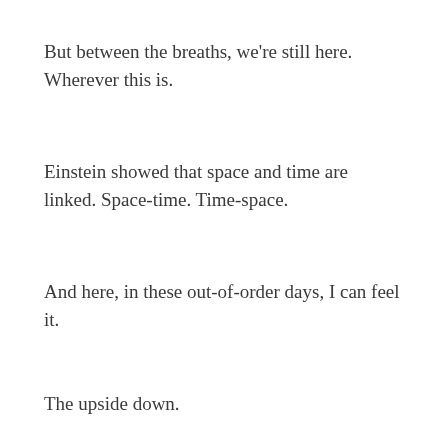But between the breaths, we're still here. Wherever this is.
Einstein showed that space and time are linked. Space-time. Time-space.
And here, in these out-of-order days, I can feel it.
The upside down.